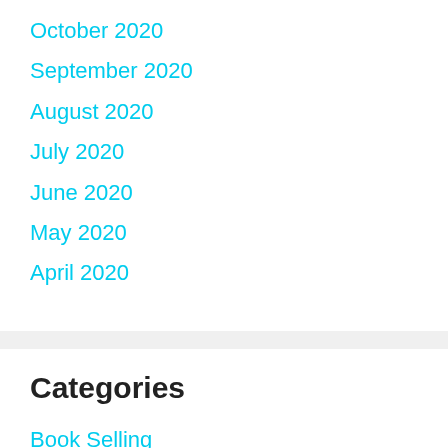October 2020
September 2020
August 2020
July 2020
June 2020
May 2020
April 2020
Categories
Book Selling
Copyright
Editor
Editing...